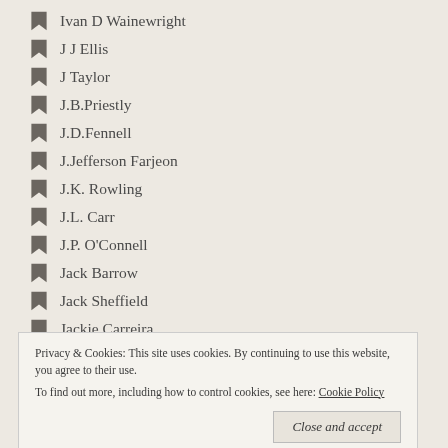Ivan D Wainewright
J J Ellis
J Taylor
J.B.Priestly
J.D.Fennell
J.Jefferson Farjeon
J.K. Rowling
J.L. Carr
J.P. O'Connell
Jack Barrow
Jack Sheffield
Jackie Carreira
Jackie Farrel
Privacy & Cookies: This site uses cookies. By continuing to use this website, you agree to their use.
To find out more, including how to control cookies, see here: Cookie Policy
James Flint